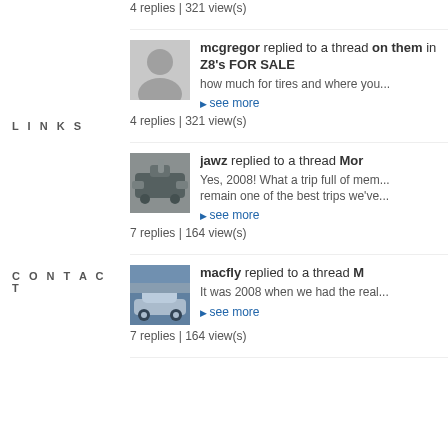LINKS
CONTACT
4 replies | 321 view(s)
mcgregor replied to a thread on them in Z8's FOR SALE
how much for tires and where you...
see more
4 replies | 321 view(s)
jawz replied to a thread Mor...
Yes, 2008! What a trip full of mem... remain one of the best trips we've...
see more
7 replies | 164 view(s)
macfly replied to a thread M...
It was 2008 when we had the real...
see more
7 replies | 164 view(s)